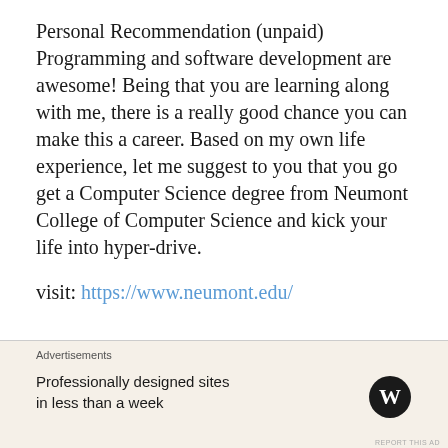Personal Recommendation (unpaid)
Programming and software development are awesome! Being that you are learning along with me, there is a really good chance you can make this a career. Based on my own life experience, let me suggest to you that you go get a Computer Science degree from Neumont College of Computer Science and kick your life into hyper-drive.
visit: https://www.neumont.edu/
Advertisements
Professionally designed sites in less than a week